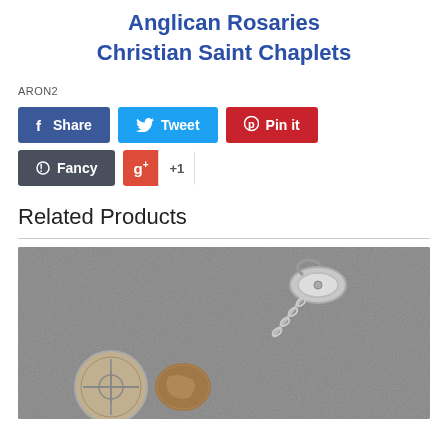Anglican Rosaries Christian Saint Chaplets
ARON2
[Figure (infographic): Social sharing buttons: Share (Facebook, blue), Tweet (Twitter, light blue), Pin it (Pinterest, red), Fancy (dark), G+ +1 (Google Plus, red and white)]
Related Products
[Figure (photo): Photo of a silver-toned rosary chaplet accessory: a metal clasp/clip at top with chain links, attached to a round coin-like medallion with cross pattern and a brown/tan stone bead, on a gray textured background.]